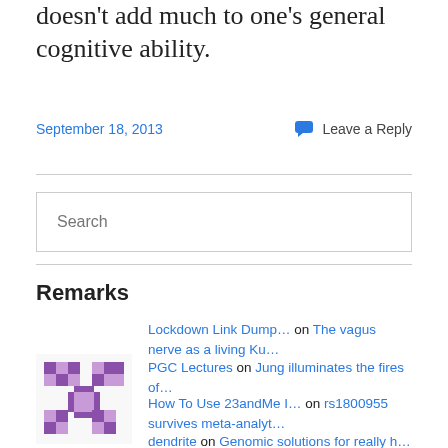doesn't add much to one's general cognitive ability.
September 18, 2013
Leave a Reply
Search
Remarks
Lockdown Link Dump… on The vagus nerve as a living Ku…
PGC Lectures on Jung illuminates the fires of…
How To Use 23andMe I… on rs1800955 survives meta-analyt…
dendrite on Genomic solutions for really h…